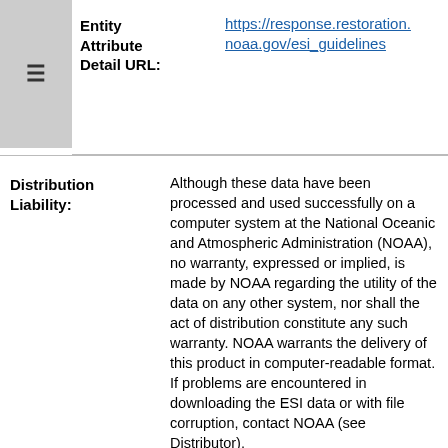Entity Attribute Detail URL:
https://response.restoration.noaa.gov/esi_guidelines
Distribution Liability:
Although these data have been processed and used successfully on a computer system at the National Oceanic and Atmospheric Administration (NOAA), no warranty, expressed or implied, is made by NOAA regarding the utility of the data on any other system, nor shall the act of distribution constitute any such warranty. NOAA warrants the delivery of this product in computer-readable format. If problems are encountered in downloading the ESI data or with file corruption, contact NOAA (see Distributor).
These data represent a snapshot